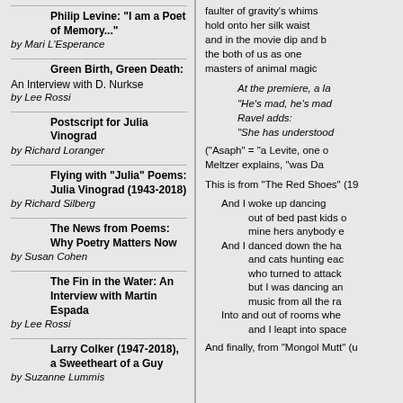Philip Levine: "I am a Poet of Memory..." by Mari L'Esperance
Green Birth, Green Death: An Interview with D. Nurkse by Lee Rossi
Postscript for Julia Vinograd by Richard Loranger
Flying with "Julia" Poems: Julia Vinograd (1943-2018) by Richard Silberg
The News from Poems: Why Poetry Matters Now by Susan Cohen
The Fin in the Water: An Interview with Martin Espada by Lee Rossi
Larry Colker (1947-2018), a Sweetheart of a Guy by Suzanne Lummis
faulter of gravity's whims hold onto her silk waist and in the movie dip and b the both of us as one masters of animal magic
At the premiere, a la "He's mad, he's mad Ravel adds: "She has understood
("Asaph" = "a Levite, one o Meltzer explains, "was Da
This is from "The Red Shoes" (19
And I woke up dancing
    out of bed past kids o
    mine hers anybody e
And I danced down the ha
    and cats hunting eac
    who turned to attack
    but I was dancing an
    music from all the ra
Into and out of rooms whe
    and I leapt into space
And finally, from "Mongol Mutt" (u